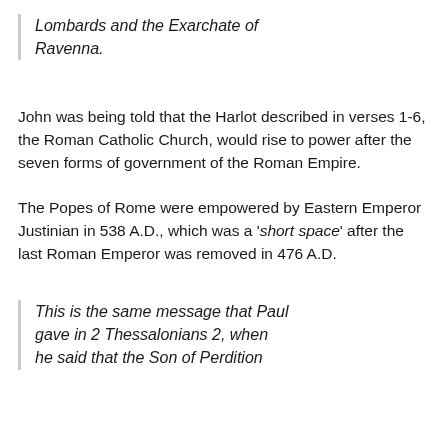Lombards and the Exarchate of Ravenna.
John was being told that the Harlot described in verses 1-6, the Roman Catholic Church, would rise to power after the seven forms of government of the Roman Empire.
The Popes of Rome were empowered by Eastern Emperor Justinian in 538 A.D., which was a 'short space' after the last Roman Emperor was removed in 476 A.D.
This is the same message that Paul gave in 2 Thessalonians 2, when he said that the Son of Perdition